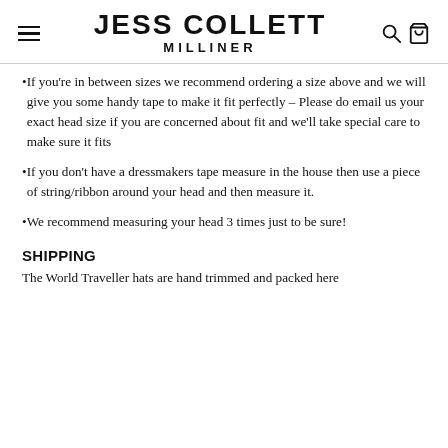JESS COLLETT MILLINER
If you're in between sizes we recommend ordering a size above and we will give you some handy tape to make it fit perfectly – Please do email us your exact head size if you are concerned about fit and we'll take special care to make sure it fits
If you don't have a dressmakers tape measure in the house then use a piece of string/ribbon around your head and then measure it.
We recommend measuring your head 3 times just to be sure!
SHIPPING
The World Traveller hats are hand trimmed and packed here